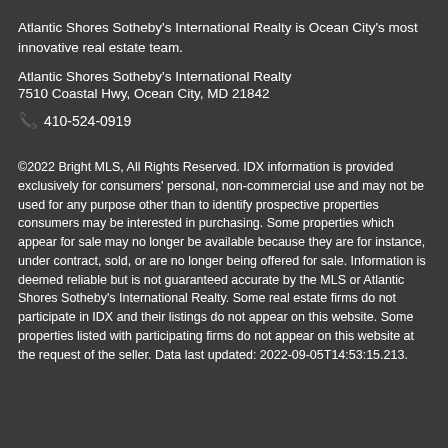Atlantic Shores Sotheby's International Realty is Ocean City's most innovative real estate team.
Atlantic Shores Sotheby's International Realty
7510 Coastal Hwy, Ocean City, MD 21842
📞 410-524-0919
©2022 Bright MLS, All Rights Reserved. IDX information is provided exclusively for consumers' personal, non-commercial use and may not be used for any purpose other than to identify prospective properties consumers may be interested in purchasing. Some properties which appear for sale may no longer be available because they are for instance, under contract, sold, or are no longer being offered for sale. Information is deemed reliable but is not guaranteed accurate by the MLS or Atlantic Shores Sotheby's International Realty. Some real estate firms do not participate in IDX and their listings do not appear on this website. Some properties listed with participating firms do not appear on this website at the request of the seller. Data last updated: 2022-09-05T14:53:15.213.